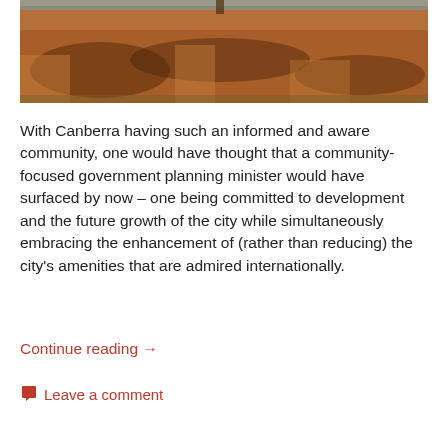[Figure (photo): Outdoor photo of a dry grassy area with reddish-brown ground cover and tree shadows cast across it, taken in daylight.]
With Canberra having such an informed and aware community, one would have thought that a community-focused government planning minister would have surfaced by now – one being committed to development and the future growth of the city while simultaneously embracing the enhancement of (rather than reducing) the city's amenities that are admired internationally.
Continue reading →
Leave a comment